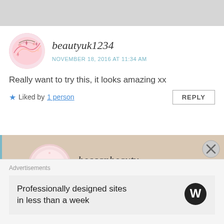beautyuk1234
NOVEMBER 18, 2016 AT 11:34 AM
Really want to try this, it looks amazing xx
★ Liked by 1 person
REPLY
beccapbeauty
NOVEMBER 18, 2016 AT 11:51 AM
It's really good. And so affordable! Xx
Advertisements
Professionally designed sites in less than a week